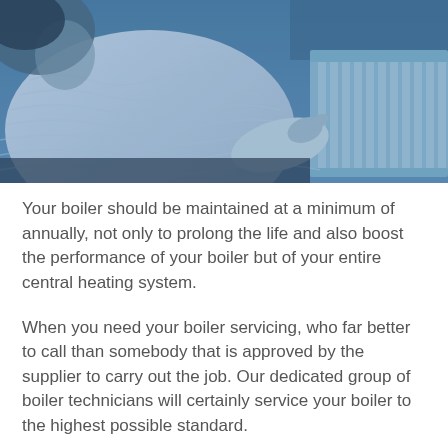[Figure (photo): A person wearing a white knitted sweater warming their hands on a metal radiator/heating element. The image has a blue tint/color filter applied. The radiator panels are visible on the right side.]
Your boiler should be maintained at a minimum of annually, not only to prolong the life and also boost the performance of your boiler but of your entire central heating system.
When you need your boiler servicing, who far better to call than somebody that is approved by the supplier to carry out the job. Our dedicated group of boiler technicians will certainly service your boiler to the highest possible standard.
If a repair is required you'll be made aware of any extra